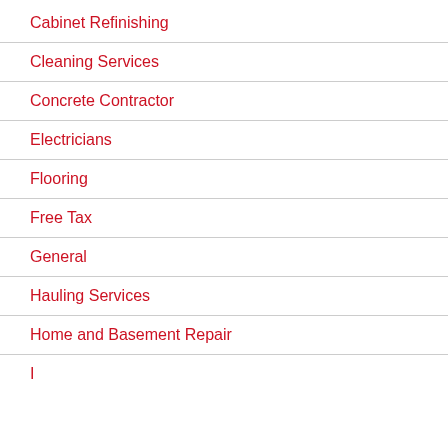Cabinet Refinishing
Cleaning Services
Concrete Contractor
Electricians
Flooring
Free Tax
General
Hauling Services
Home and Basement Repair
Insulation (partial)